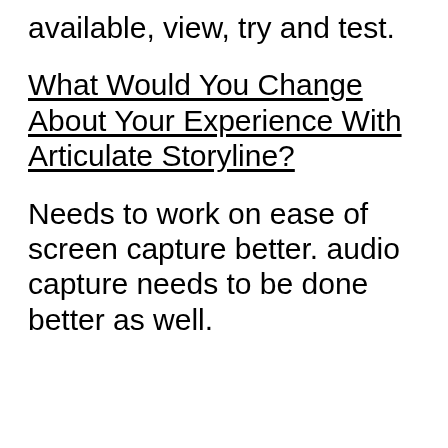available, view, try and test.
What Would You Change About Your Experience With Articulate Storyline?
Needs to work on ease of screen capture better. audio capture needs to be done better as well.